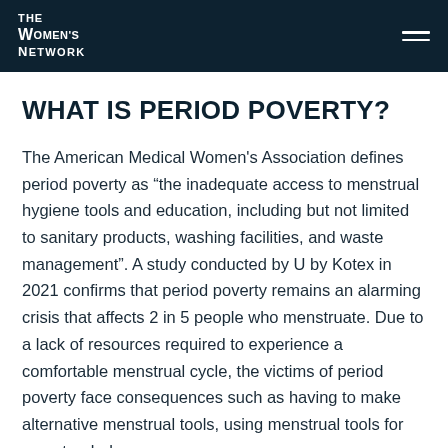THE WOMEN'S NETWORK
WHAT IS PERIOD POVERTY?
The American Medical Women's Association defines period poverty as “the inadequate access to menstrual hygiene tools and education, including but not limited to sanitary products, washing facilities, and waste management”. A study conducted by U by Kotex in 2021 confirms that period poverty remains an alarming crisis that affects 2 in 5 people who menstruate. Due to a lack of resources required to experience a comfortable menstrual cycle, the victims of period poverty face consequences such as having to make alternative menstrual tools, using menstrual tools for an extended